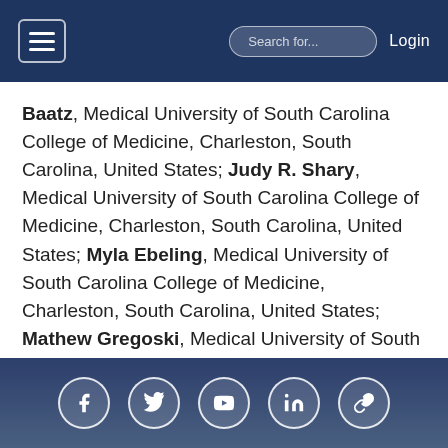Search for... Login
Baatz, Medical University of South Carolina College of Medicine, Charleston, South Carolina, United States; Judy R. Shary, Medical University of South Carolina College of Medicine, Charleston, South Carolina, United States; Myla Ebeling, Medical University of South Carolina College of Medicine, Charleston, South Carolina, United States; Mathew Gregoski, Medical University of South Carolina, Charleston, South Carolina, United States; Carol L. Wagner, Medical University of South Carolina College of Medicine, Charleston, South Carolina, United States
Social media links: Facebook, Twitter, YouTube, LinkedIn, Share